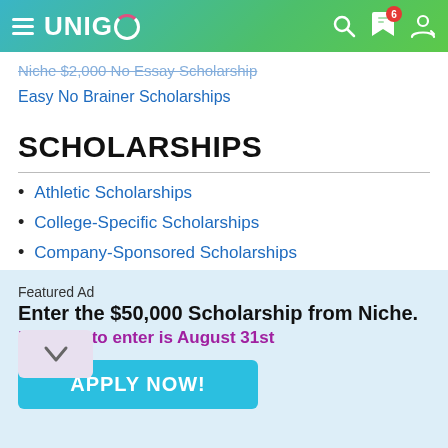UNIGO
Niche $2,000 No Essay Scholarship
Easy No Brainer Scholarships
SCHOLARSHIPS
Athletic Scholarships
College-Specific Scholarships
Company-Sponsored Scholarships
Grants for College
Merit-Based Scholarships
ority Scholarships
Featured Ad
Enter the $50,000 Scholarship from Niche.
Last day to enter is August 31st
APPLY NOW!